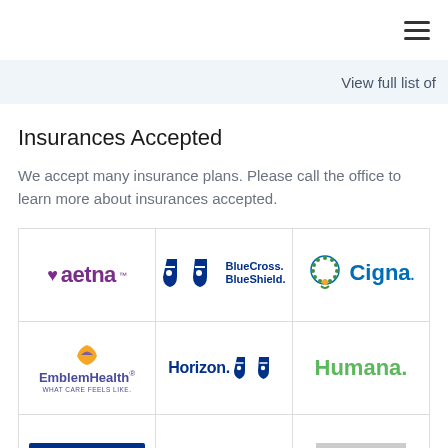≡ (hamburger menu)
View full list of
Insurances Accepted
We accept many insurance plans. Please call the office to learn more about insurances accepted.
[Figure (logo): Aetna logo - purple heart with aetna text]
[Figure (logo): BlueCross BlueShield logo - blue shields with text]
[Figure (logo): Cigna logo - green tree with Cigna text]
[Figure (logo): EmblemHealth logo - orange/yellow emblem with text]
[Figure (logo): Horizon BlueCross BlueShield logo]
[Figure (logo): Humana logo in green]
| Aetna | BlueCross BlueShield | Cigna |
| EmblemHealth | Horizon | Humana |
| (partial) | (partial) | (partial) |